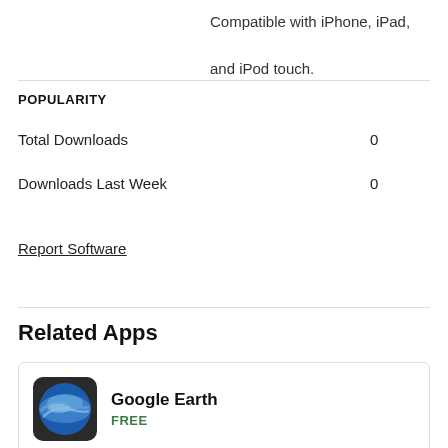Compatible with iPhone, iPad, and iPod touch.
POPULARITY
Total Downloads   0
Downloads Last Week   0
Report Software
Related Apps
Google Earth
FREE
Gain a new world perspective exploring the globe with a swipe of your finger.